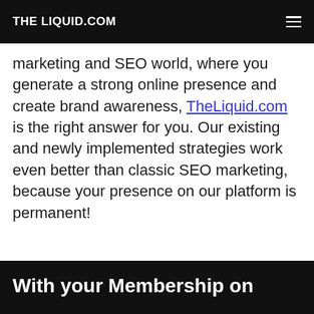THE LIQUID.COM
marketing and SEO world, where you generate a strong online presence and create brand awareness, TheLiquid.com is the right answer for you. Our existing and newly implemented strategies work even better than classic SEO marketing, because your presence on our platform is permanent!
With your Membership on TheLiquid.com you'll